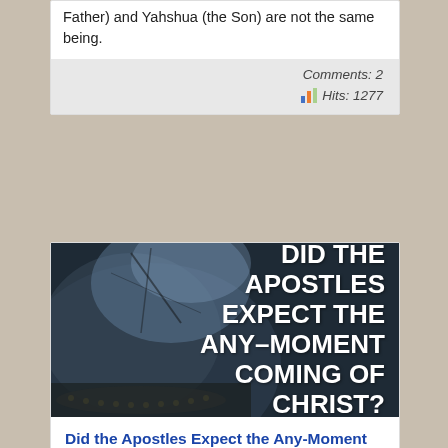Father) and Yahshua (the Son) are not the same being.
Comments: 2
Hits: 1277
[Figure (photo): Dark dramatic image with text overlay reading 'DID THE APOSTLES EXPECT THE ANY-MOMENT COMING OF CHRIST?']
Did the Apostles Expect the Any-Moment Coming of Christ?
Let's look at a few of the Scriptures which are alleged in support of the any-moment coming and to show that none of them can fairly be used to say, "Yes, the Apostles did believe that Christ could come at any moment."